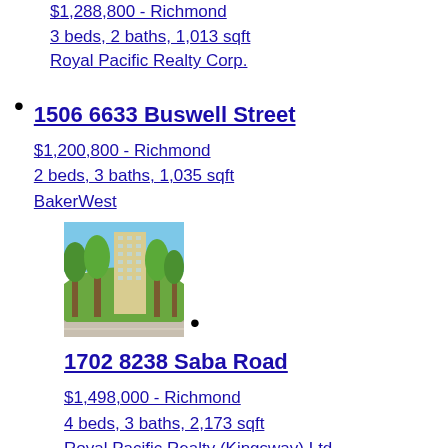$1,288,800 - Richmond
3 beds, 2 baths, 1,013 sqft
Royal Pacific Realty Corp.
1506 6633 Buswell Street
$1,200,800 - Richmond
2 beds, 3 baths, 1,035 sqft
BakerWest
[Figure (photo): Exterior photo of a multi-storey condominium building surrounded by trees]
1702 8238 Saba Road
$1,498,000 - Richmond
4 beds, 3 baths, 2,173 sqft
Royal Pacific Realty (Kingsway) Ltd.